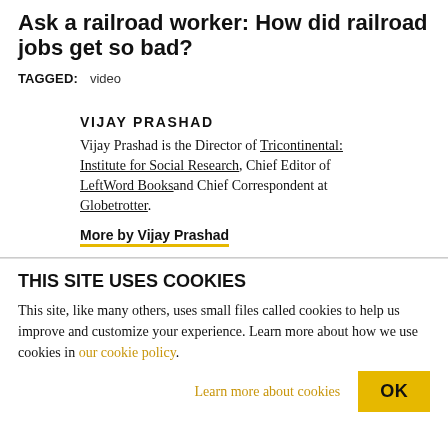Ask a railroad worker: How did railroad jobs get so bad?
TAGGED: video
VIJAY PRASHAD
Vijay Prashad is the Director of Tricontinental: Institute for Social Research, Chief Editor of LeftWord Books and Chief Correspondent at Globetrotter.
More by Vijay Prashad
THIS SITE USES COOKIES
This site, like many others, uses small files called cookies to help us improve and customize your experience. Learn more about how we use cookies in our cookie policy.
Learn more about cookies   OK